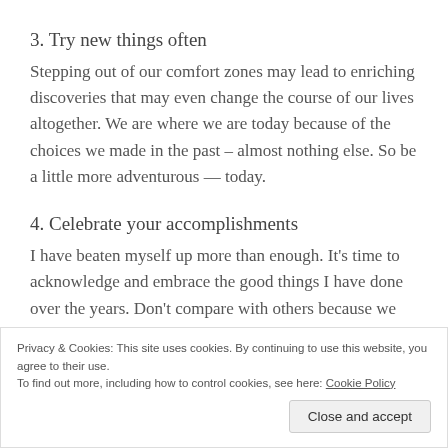3. Try new things often
Stepping out of our comfort zones may lead to enriching discoveries that may even change the course of our lives altogether. We are where we are today because of the choices we made in the past – almost nothing else. So be a little more adventurous — today.
4. Celebrate your accomplishments
I have beaten myself up more than enough. It's time to acknowledge and embrace the good things I have done over the years. Don't compare with others because we
Privacy & Cookies: This site uses cookies. By continuing to use this website, you agree to their use.
To find out more, including how to control cookies, see here: Cookie Policy
Close and accept